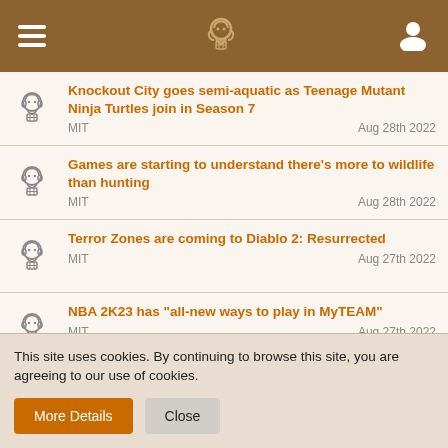App header with menu, logo, and user icon
Knockout City goes semi-aquatic as Teenage Mutant Ninja Turtles join in Season 7 | MIT | Aug 28th 2022
Games are starting to understand there's more to wildlife than hunting | MIT | Aug 28th 2022
Terror Zones are coming to Diablo 2: Resurrected | MIT | Aug 27th 2022
NBA 2K23 has "all-new ways to play in MyTEAM" | MIT | Aug 27th 2022
Nobody Saves the World launching Frozen Hearth DLC
This site uses cookies. By continuing to browse this site, you are agreeing to our use of cookies.